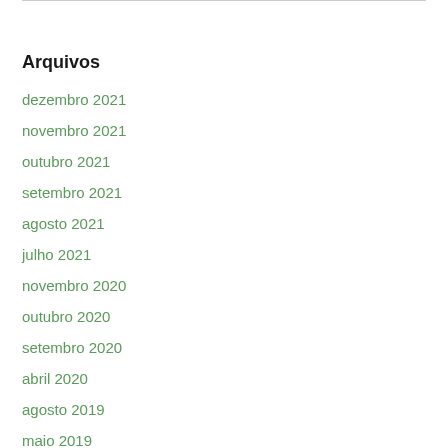Arquivos
dezembro 2021
novembro 2021
outubro 2021
setembro 2021
agosto 2021
julho 2021
novembro 2020
outubro 2020
setembro 2020
abril 2020
agosto 2019
maio 2019
março 2019